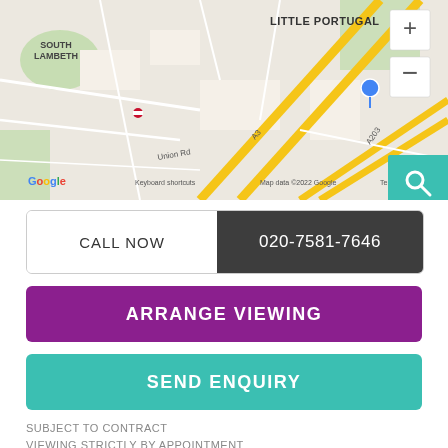[Figure (map): Google Maps showing Brixton area of London, with Little Portugal, South Lambeth, Brixton Jamm marked. Shows roads including A3, A203, Union Rd. Map data ©2022 Google.]
CALL NOW   020-7581-7646
ARRANGE VIEWING
SEND ENQUIRY
SUBJECT TO CONTRACT
VIEWING STRICTLY BY APPOINTMENT